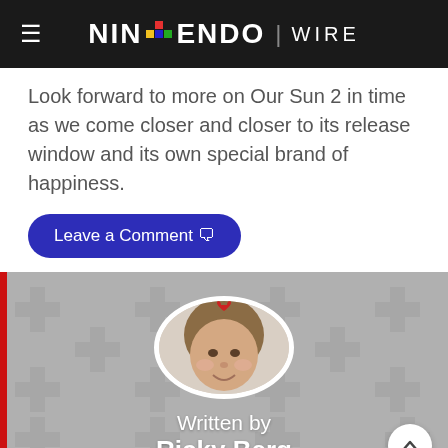Nintendo Wire
Look forward to more on Our Sun 2 in time as we come closer and closer to its release window and its own special brand of happiness.
Leave a Comment
[Figure (photo): Circular avatar photo of Ricky Berg with a small red heart decoration on top of head, on a gray cross-pattern background]
Written by Ricky Berg
When he isn't writing for Nintendo Wire, Ricky's